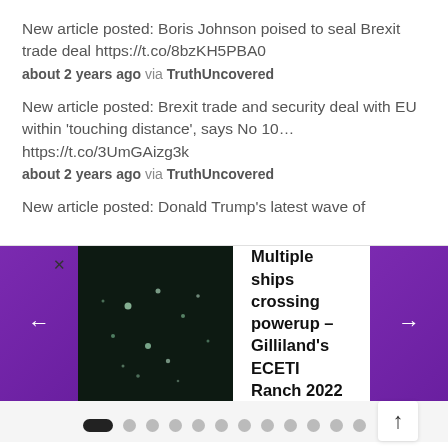New article posted: Boris Johnson poised to seal Brexit trade deal https://t.co/8bzKH5PBA0
about 2 years ago via TruthUncovered
New article posted: Brexit trade and security deal with EU within ‘touching distance’, says No 10… https://t.co/3UmGAizg3k
about 2 years ago via TruthUncovered
New article posted: Donald Trump’s latest wave of
[Figure (screenshot): Carousel widget showing a dark image of lights in the night sky and the title 'Multiple ships crossing powerup – Gilliland’s ECETI Ranch 2022', with purple navigation arrows on both sides and an X close button]
[Figure (other): Pagination dots row with the first dot active (elongated black), followed by 11 grey circular dots, and a scroll-up arrow button on the right]